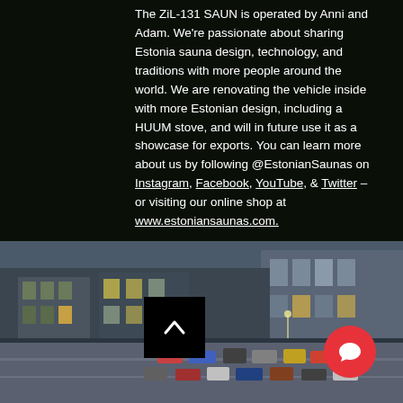The ZiL-131 SAUN is operated by Anni and Adam. We're passionate about sharing Estonia sauna design, technology, and traditions with more people around the world. We are renovating the vehicle inside with more Estonian design, including a HUUM stove, and will in future use it as a showcase for exports. You can learn more about us by following @EstonianSaunas on Instagram, Facebook, YouTube, & Twitter – or visiting our online shop at www.estoniansaunas.com.
[Figure (photo): Aerial/elevated view of a city street with cars and buildings, taken at dusk or evening with lights visible. Shows a busy urban intersection or road with parked and moving vehicles.]